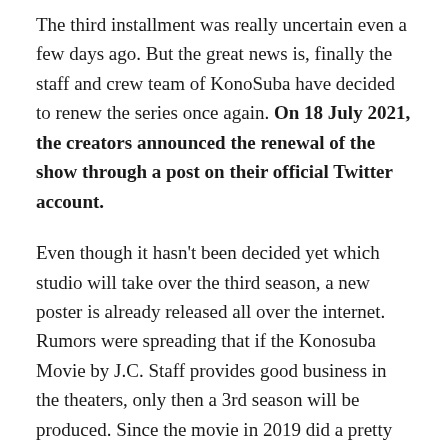The third installment was really uncertain even a few days ago. But the great news is, finally the staff and crew team of KonoSuba have decided to renew the series once again. On 18 July 2021, the creators announced the renewal of the show through a post on their official Twitter account.
Even though it hasn't been decided yet which studio will take over the third season, a new poster is already released all over the internet. Rumors were spreading that if the Konosuba Movie by J.C. Staff provides good business in the theaters, only then a 3rd season will be produced. Since the movie in 2019 did a pretty good job of satisfying the fans, another season will surely come.